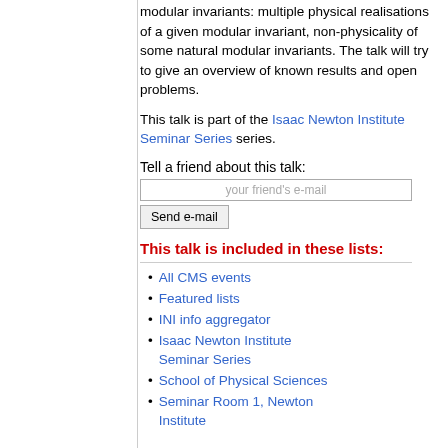modular invariants: multiple physical realisations of a given modular invariant, non-physicality of some natural modular invariants. The talk will try to give an overview of known results and open problems.
This talk is part of the Isaac Newton Institute Seminar Series series.
Tell a friend about this talk:
This talk is included in these lists:
All CMS events
Featured lists
INI info aggregator
Isaac Newton Institute Seminar Series
School of Physical Sciences
Seminar Room 1, Newton Institute